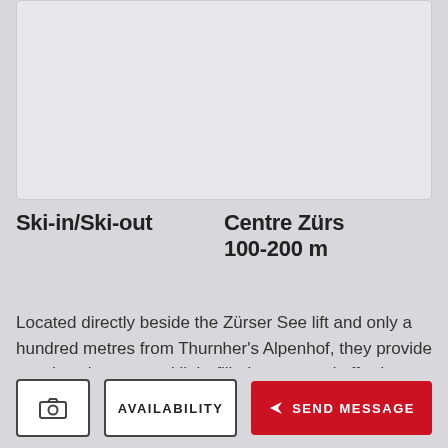[Figure (photo): Image placeholder area for property photo]
Ski-in/Ski-out
Centre Zürs
100-200 m
Located directly beside the Zürser See lift and only a hundred metres from Thurnher's Alpenhof, they provide spacious layouts and light-filled rooms and afford spectacular views of